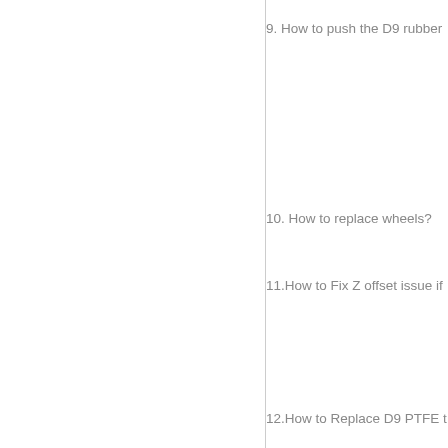9. How to push the D9 rubber
10. How to replace wheels?
11.How to Fix Z offset issue if
12.How to Replace D9 PTFE t